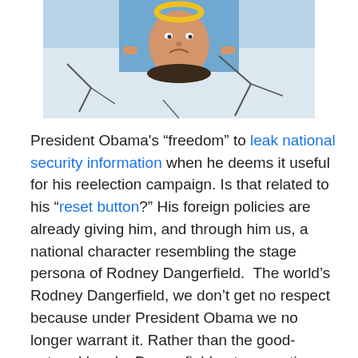[Figure (photo): A mural or artwork showing a person upside down with a halo, against a cracked background with blue tones.]
President Obama's “freedom” to leak national security information when he deems it useful for his reelection campaign. Is that related to his “reset button?” His foreign policies are already giving him, and through him us, a national character resembling the stage persona of Rodney Dangerfield.  The world’s Rodney Dangerfield, we don’t get no respect because under President Obama we no longer warrant it. Rather than the good-natured laughs Dangerfield got, our nation gets derision. We knew Dangerfield was being intentionally funny and that he was only acting out a stage persona.  We would not have thought him funny if, rather than simply affecting a stage persona to make us laugh, he had been convincing foreign